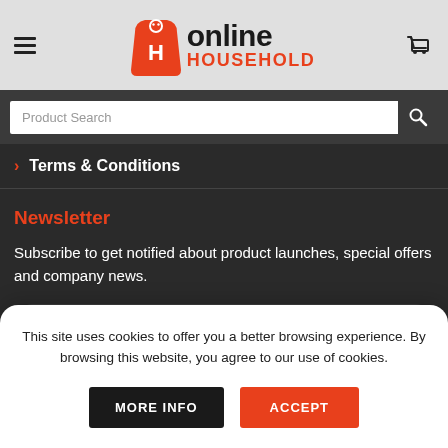Online Household - logo, hamburger menu, cart
Product Search
> Terms & Conditions
Newsletter
Subscribe to get notified about product launches, special offers and company news.
Your Email (required)
This site uses cookies to offer you a better browsing experience. By browsing this website, you agree to our use of cookies.
MORE INFO
ACCEPT